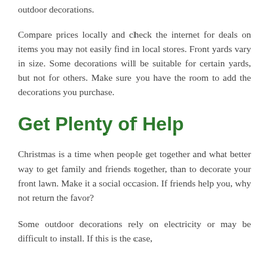outdoor decorations.
Compare prices locally and check the internet for deals on items you may not easily find in local stores. Front yards vary in size. Some decorations will be suitable for certain yards, but not for others. Make sure you have the room to add the decorations you purchase.
Get Plenty of Help
Christmas is a time when people get together and what better way to get family and friends together, than to decorate your front lawn. Make it a social occasion. If friends help you, why not return the favor?
Some outdoor decorations rely on electricity or may be difficult to install. If this is the case,